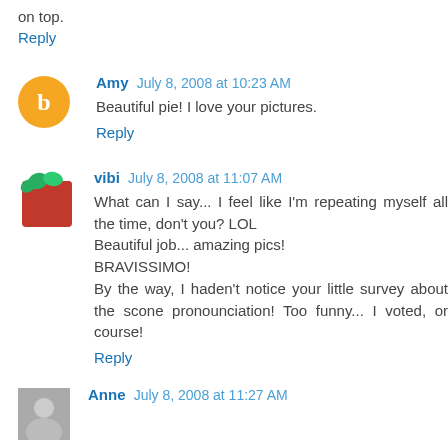on top.
Reply
Amy July 8, 2008 at 10:23 AM
Beautiful pie! I love your pictures.
Reply
vibi July 8, 2008 at 11:07 AM
What can I say... I feel like I'm repeating myself all the time, don't you? LOL
Beautiful job... amazing pics!
BRAVISSIMO!
By the way, I haden't notice your little survey about the scone pronounciation! Too funny... I voted, or course!
Reply
Anne July 8, 2008 at 11:27 AM